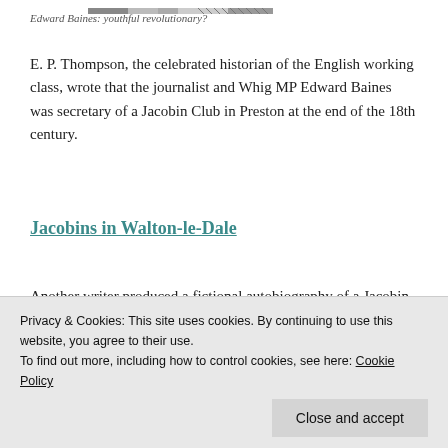[Figure (photo): Partial image strip at the top of the page, appears to be a cropped photograph]
Edward Baines: youthful revolutionary?
E. P. Thompson, the celebrated historian of the English working class, wrote that the journalist and Whig MP Edward Baines was secretary of a Jacobin Club in Preston at the end of the 18th century.
Jacobins in Walton-le-Dale
Another writer produced a fictional autobiography of a Jacobin born in Walton-le-Dale who accompanied Thomas Paine to Paris at
Privacy & Cookies: This site uses cookies. By continuing to use this website, you agree to their use.
To find out more, including how to control cookies, see here: Cookie Policy
Close and accept
Kuerden's Preston